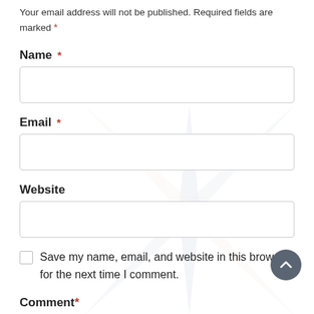Your email address will not be published. Required fields are marked *
Name *
[Figure (other): Empty text input field for Name]
Email *
[Figure (other): Empty text input field for Email]
Website
[Figure (other): Empty text input field for Website]
Save my name, email, and website in this browser for the next time I comment.
Comment *